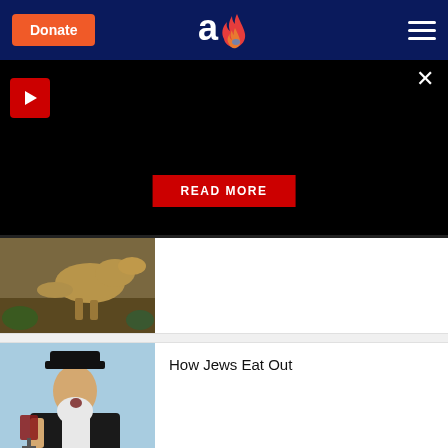Donate | Aish.com logo | Menu
[Figure (screenshot): Dark video/media panel with a red play button in top-left, a close (X) button in top-right, and a red READ MORE button centered at the bottom]
[Figure (photo): Partially visible image of a dinosaur (appears to be T-Rex or similar large dinosaur) in a brownish outdoor setting]
[Figure (photo): An elderly bearded rabbi wearing a black hat and suit, holding a glass of red wine, with a light blue background]
How Jews Eat Out
[Figure (photo): Bottom banner showing bokeh/blurred golden lights with envelope/email icons overlay]